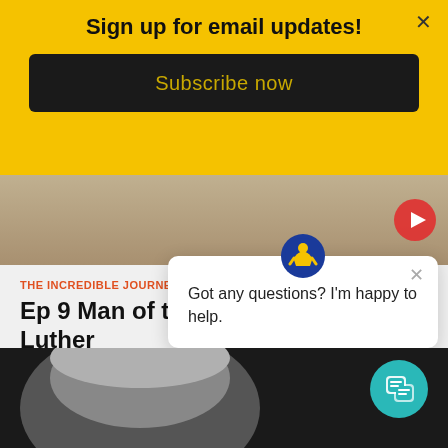Sign up for email updates!
Subscribe now
[Figure (screenshot): Video thumbnail strip with play button]
THE INCREDIBLE JOURNEY / 14 VIEWS
Ep 9 Man of the Millenium: Martin Luther
Five hundred years ago, an event took place that shook the world and changed the course of human history. A young German monk challenged the most powerful empire on earth - thousand years.
[Figure (screenshot): Chat popup with logo asking 'Got any questions? I'm happy to help.']
[Figure (photo): Bottom strip showing close-up of man's face with gray hair]